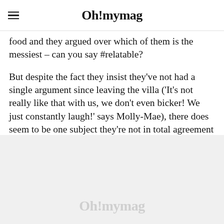Oh! mymag
food and they argued over which of them is the messiest – can you say #relatable?
But despite the fact they insist they've not had a single argument since leaving the villa ('It's not really like that with us, we don't even bicker! We just constantly laugh!' says Molly-Mae), there does seem to be one subject they're not in total agreement on for the moment – how many children they want.